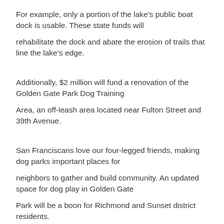For example, only a portion of the lake's public boat dock is usable. These state funds will
rehabilitate the dock and abate the erosion of trails that line the lake's edge.
Additionally, $2 million will fund a renovation of the Golden Gate Park Dog Training
Area, an off-leash area located near Fulton Street and 39th Avenue.
San Franciscans love our four-legged friends, making dog parks important places for
neighbors to gather and build community. An updated space for dog play in Golden Gate
Park will be a boon for Richmond and Sunset district residents.